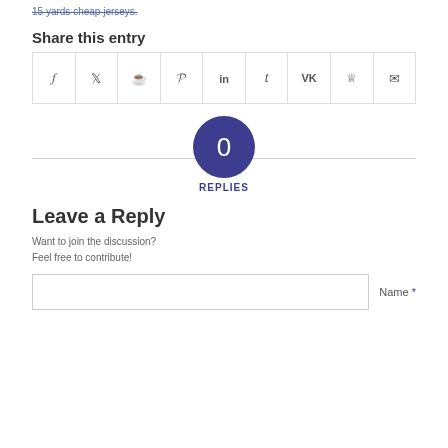15 yards cheap jerseys.
Share this entry
[Figure (other): Social share buttons: Facebook, Twitter, WhatsApp, Pinterest, LinkedIn, Tumblr, VK, Reddit, Email]
0 REPLIES
Leave a Reply
Want to join the discussion?
Feel free to contribute!
Name *